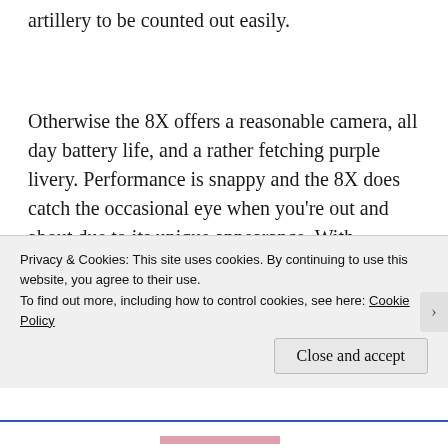artillery to be counted out easily.
Otherwise the 8X offers a reasonable camera, all day battery life, and a rather fetching purple livery. Performance is snappy and the 8X does catch the occasional eye when you’re out and about due to its unique appearance. With Windows Phone 8 not yet drawing the crowds
Privacy & Cookies: This site uses cookies. By continuing to use this website, you agree to their use.
To find out more, including how to control cookies, see here: Cookie Policy
Close and accept